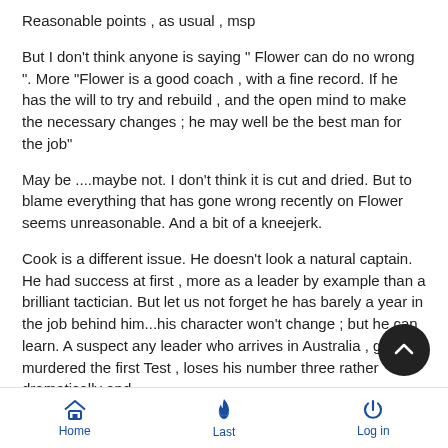Reasonable points , as usual , msp
But I don't think anyone is saying " Flower can do no wrong ". More "Flower is a good coach , with a fine record. If he has the will to try and rebuild , and the open mind to make the necessary changes ; he may well be the best man for the job"
May be ....maybe not. I don't think it is cut and dried. But to blame everything that has gone wrong recently on Flower seems unreasonable. And a bit of a kneejerk.
Cook is a different issue. He doesn't look a natural captain. He had success at first , more as a leader by example than a brilliant tactician. But let us not forget he has barely a year in the job behind him...his character won't change ; but he can learn. A suspect any leader who arrives in Australia , gets murdered the first Test , loses his number three rather dramatically and
Home   Last   Log in